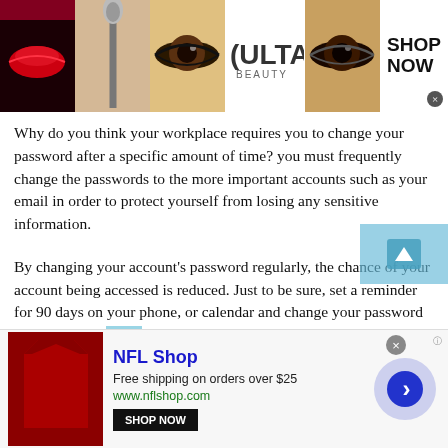[Figure (illustration): Top banner ad for Ulta Beauty featuring makeup images (lips, brush, eye), Ulta logo, and SHOP NOW text with close button]
Why do you think your workplace requires you to change your password after a specific amount of time? you must frequently change the passwords to the more important accounts such as your email in order to protect yourself from losing any sensitive information.
By changing your account's password regularly, the chance of your account being accessed is reduced. Just to be sure, set a reminder for 90 days on your phone, or calendar and change your password frequently. This will remind you to change your password every day
[Figure (illustration): Bottom banner ad for NFL Shop with jersey image, shop now button, and circular arrow navigation button]